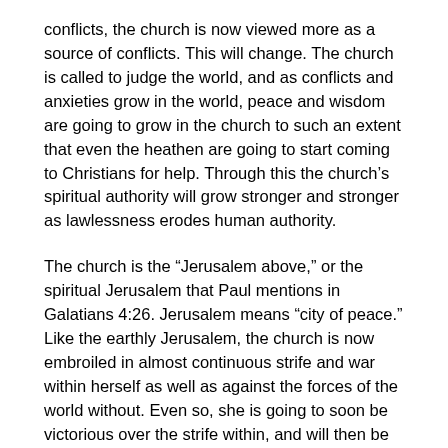conflicts, the church is now viewed more as a source of conflicts. This will change. The church is called to judge the world, and as conflicts and anxieties grow in the world, peace and wisdom are going to grow in the church to such an extent that even the heathen are going to start coming to Christians for help. Through this the church's spiritual authority will grow stronger and stronger as lawlessness erodes human authority.
The church is the “Jerusalem above,” or the spiritual Jerusalem that Paul mentions in Galatians 4:26. Jerusalem means “city of peace.” Like the earthly Jerusalem, the church is now embroiled in almost continuous strife and war within herself as well as against the forces of the world without. Even so, she is going to soon be victorious over the strife within, and will then be able to turn all of her great weapons on the forces without. The church will arise to fulfill her purpose in all that she is called to do and be. It will be as was foretold in Isaiah 60:1-2, when darkness is increasing, and deep darkness comes upon the people, the Lord’s glory will rise and appear upon His people. When human conflict and strife reaches unprecedented levels, the church will know unprecedented peace. This peace will be a fortress that will be impregnable to the enemy. The church will become the true sanctuary on earth.